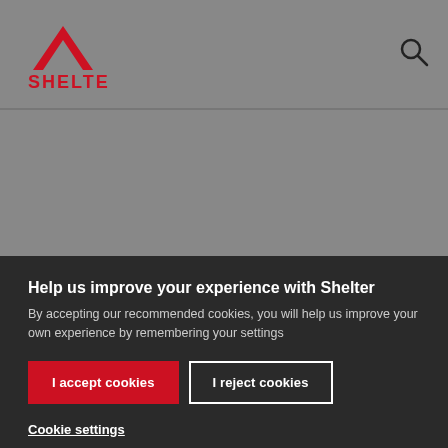[Figure (logo): Shelter charity logo — red chevron/roof shape above the text SHELTER in red]
[Figure (other): Search icon (magnifying glass) in top right of header bar]
[Figure (other): Gray background area below the header — content area of the website obscured by cookie consent overlay]
Help us improve your experience with Shelter
By accepting our recommended cookies, you will help us improve your own experience by remembering your settings
I accept cookies
I reject cookies
Cookie settings